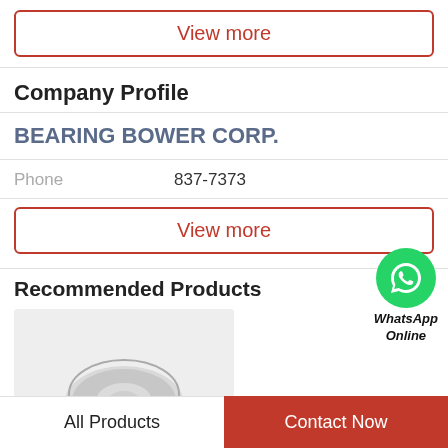View more
Company Profile
BEARING BOWER CORP.
Phone   837-7373
View more
[Figure (logo): WhatsApp green circle icon with phone handset and text 'WhatsApp Online']
Recommended Products
[Figure (photo): Bearing product image on grey background, partially visible]
All Products
Contact Now